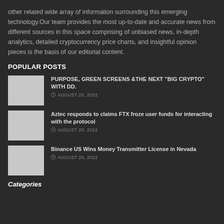other related wide array of information surrounding this emerging technology.Our team provides the most up-to-date and accurate news from different sources in this space comprising of unbiased news, in-depth analytics, detailed cryptocurrency price charts, and insightful opinion pieces is the basis of our editorial content.
POPULAR POSTS
[Figure (photo): Thumbnail image placeholder for popular post 1]
PURPOSE, GREEN SCREENS &THE NEXT "BIG CRYPTO" WITH DD.
AUGUST 20, 2022
[Figure (photo): Thumbnail image placeholder for popular post 2]
Aztec responds to claims FTX froze user funds for interacting with the protocol
AUGUST 20, 2022
[Figure (photo): Thumbnail image placeholder for popular post 3]
Binance US Wins Money Transmitter License in Nevada
AUGUST 20, 2022
Categories